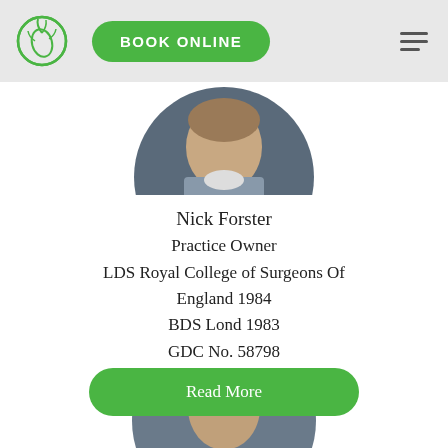BOOK ONLINE
[Figure (photo): Circular cropped headshot of Nick Forster, partially visible at top of page, man in shirt]
Nick Forster
Practice Owner
LDS Royal College of Surgeons Of England 1984
BDS Lond 1983
GDC No. 58798
Read More
[Figure (photo): Circular cropped headshot of a second person, partially visible at bottom of page, man in suit]